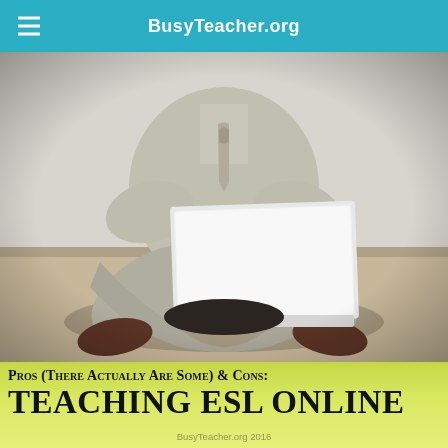BusyTeacher.org
[Figure (photo): A man in a light grey dress shirt and tie sitting cross-legged on the floor with a laptop computer on his lap, photographed from the chest down, no face visible.]
Pros (There Actually Are Some) & Cons: TEACHING ESL ONLINE